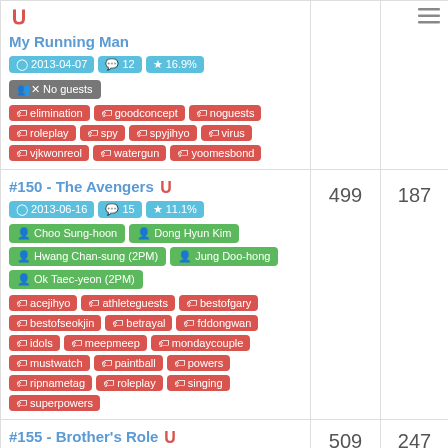My Running Man | 2013-04-07 | 12 comments | 16.9% | No guests | Tags: elimination, goodconcept, noguests, roleplay, spy, spyjihyo, virus, vjkwonreol, watergun, yoomesbond
#150 - The Avengers | 2013-06-16 | 15 comments | 11.1% | Guests: Choo Sung-hoon, Dong Hyun Kim, Hwang Chan-sung (2PM), Jung Doo-hong, Ok Taec-yeon (2PM) | Tags: acejihyo, athleteguests, bestofgary, bestofseokjin, betrayal, fddongwan, idols, meepmeep, mondaycouple, mustwatch, paintball, powers, ripnametag, roleplay, singing, superpowers | 499 | 187
#155 - Brother's Role | 509 | 247